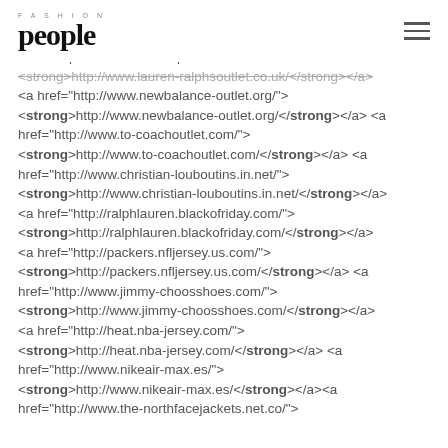FASHION people
href="http://www.reebok.com.de/"> <strong>http://www.reebok.com.de/</strong> </a> <a href="http://www.lauren-ralphsoutlet.co.uk/"> <strong>http://www.lauren-ralphsoutlet.co.uk/</strong></a> <a href="http://www.newbalance-outlet.org/"> <strong>http://www.newbalance-outlet.org/</strong></a> <a href="http://www.to-coachoutlet.com/"> <strong>http://www.to-coachoutlet.com/</strong></a> <a href="http://www.christian-louboutins.in.net/"> <strong>http://www.christian-louboutins.in.net/</strong></a> <a href="http://ralphlauren.blackofriday.com/"> <strong>http://ralphlauren.blackofriday.com/</strong></a> <a href="http://packers.nfljersey.us.com/"> <strong>http://packers.nfljersey.us.com/</strong></a> <a href="http://www.jimmy-choosshoes.com/"> <strong>http://www.jimmy-choosshoes.com/</strong></a> <a href="http://heat.nba-jersey.com/"> <strong>http://heat.nba-jersey.com/</strong></a> <a href="http://www.nikeair-max.es/"> <strong>http://www.nikeair-max.es/</strong></a><a href="http://www.the-northfacejackets.net.co/">